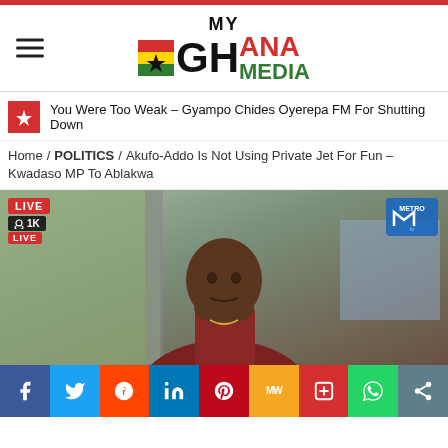[Figure (logo): My Ghana Media logo with Ghanaian flag colors]
You Were Too Weak – Gyampo Chides Oyerepa FM For Shutting Down
Home / POLITICS / Akufo-Addo Is Not Using Private Jet For Fun – Kwadaso MP To Ablakwa
[Figure (photo): Live video screenshot of a man in dark red attire seated at a TV studio desk, Metro TV logo visible top right, LIVE badge and 1K viewers shown top left]
[Figure (infographic): Social share bar with Facebook, Twitter, Reddit, LinkedIn, Pinterest, MW, Mix, WhatsApp, and share buttons]